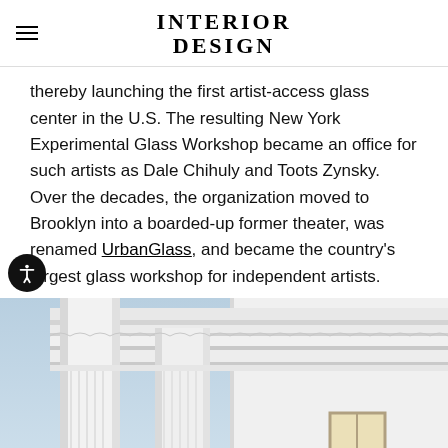INTERIOR DESIGN
thereby launching the first artist-access glass center in the U.S. The resulting New York Experimental Glass Workshop became an office for such artists as Dale Chihuly and Toots Zynsky. Over the decades, the organization moved to Brooklyn into a boarded-up former theater, was renamed UrbanGlass, and became the country's largest glass workshop for independent artists.
[Figure (photo): Exterior photograph of a white neoclassical building facade with white columns, ornate cornice details, and a window, photographed against a pale blue sky.]